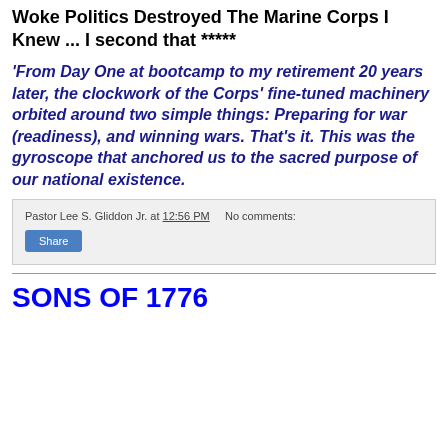Woke Politics Destroyed The Marine Corps I Knew ... I second that *****
'From Day One at bootcamp to my retirement 20 years later, the clockwork of the Corps' fine-tuned machinery orbited around two simple things: Preparing for war (readiness), and winning wars. That's it. This was the gyroscope that anchored us to the sacred purpose of our national existence.
Pastor Lee S. Gliddon Jr. at 12:56 PM   No comments:
Share
SONS OF 1776